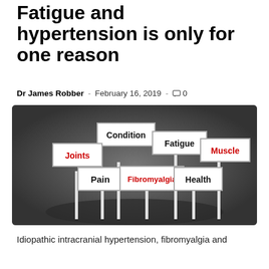Fatigue and hypertension is only for one reason
Dr James Robber  -  February 16, 2019  -  0
[Figure (illustration): Infographic showing multiple white sign boards on posts against a dark grey background with a dark oval shadow on the ground. Signs read: Condition, Fatigue, Joints (red text), Muscle (red text), Pain, Fibromyalgia (red text), Health.]
Idiopathic intracranial hypertension, fibromyalgia and